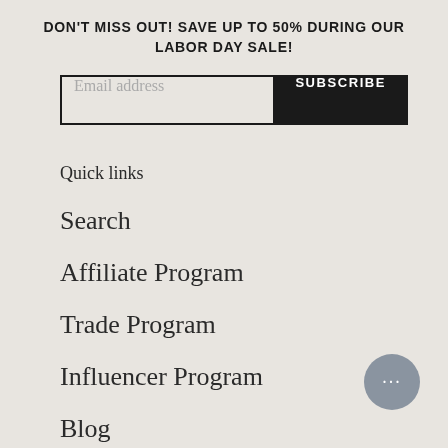DON'T MISS OUT! SAVE UP TO 50% DURING OUR LABOR DAY SALE!
Email address | SUBSCRIBE
Quick links
Search
Affiliate Program
Trade Program
Influencer Program
Blog
[Figure (other): Chat bubble icon with ellipsis (…)]